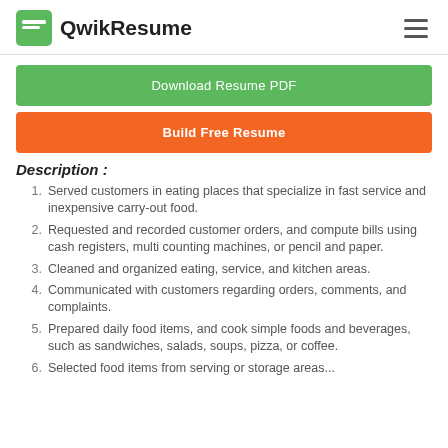QwikResume
Download Resume PDF
Build Free Resume
Description :
Served customers in eating places that specialize in fast service and inexpensive carry-out food.
Requested and recorded customer orders, and compute bills using cash registers, multi counting machines, or pencil and paper.
Cleaned and organized eating, service, and kitchen areas.
Communicated with customers regarding orders, comments, and complaints.
Prepared daily food items, and cook simple foods and beverages, such as sandwiches, salads, soups, pizza, or coffee.
Selected food items from serving or storage areas...